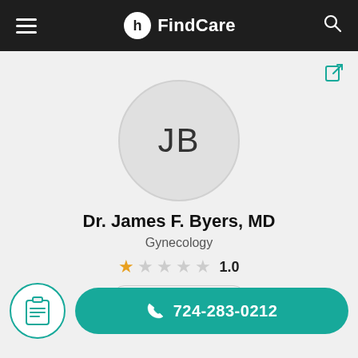FindCare
[Figure (screenshot): Share/export icon in teal color, top right of content area]
[Figure (illustration): Circular avatar placeholder with initials JB]
Dr. James F. Byers, MD
Gynecology
1.0
Leave a review
[Figure (illustration): Circular clipboard icon in teal outline]
724-283-0212